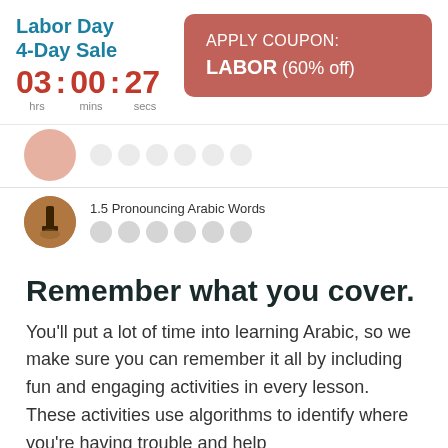Labor Day 4-Day Sale
03 : 00 : 27
hrs   mins   secs
APPLY COUPON: LABOR (60% off)
[Figure (screenshot): Partially visible lesson thumbnail with icons]
1.5 Pronouncing Arabic Words
[Figure (photo): Circular lesson thumbnail for lesson 1.5 Pronouncing Arabic Words with activity icons below]
Remember what you cover.
You'll put a lot of time into learning Arabic, so we make sure you can remember it all by including fun and engaging activities in every lesson. These activities use algorithms to identify where you're having trouble and help